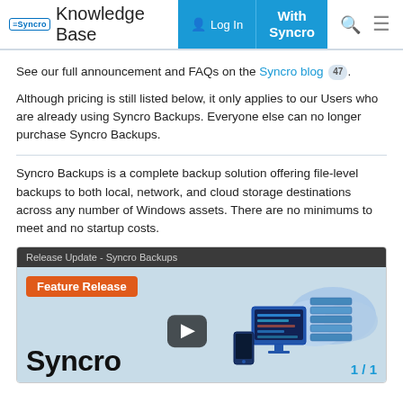Syncro Knowledge Base | Log In | With Syncro
See our full announcement and FAQs on the Syncro blog 47.
Although pricing is still listed below, it only applies to our Users who are already using Syncro Backups. Everyone else can no longer purchase Syncro Backups.
Syncro Backups is a complete backup solution offering file-level backups to both local, network, and cloud storage destinations across any number of Windows assets. There are no minimums to meet and no startup costs.
[Figure (screenshot): Video thumbnail card showing 'Release Update - Syncro Backups' header in dark bar, orange 'Feature Release' badge, 'Syncro Backups' bold title text, a play button overlay, a cloud/server illustration on the right, and a '1/1' page indicator bottom-right.]